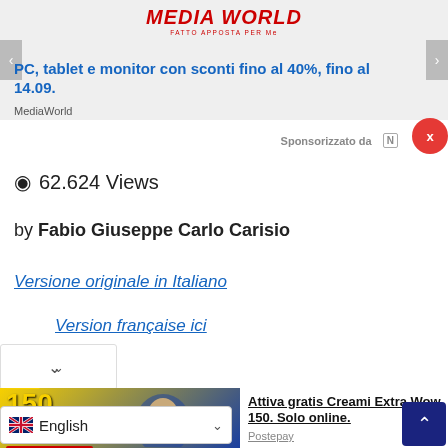[Figure (screenshot): MediaWorld advertisement banner with logo and promotional text about PC, tablet and monitor discounts up to 40%, until 14.09]
PC, tablet e monitor con sconti fino al 40%, fino al 14.09.
MediaWorld
Sponsorizzato da N
62.624 Views
by Fabio Giuseppe Carlo Carisio
Versione originale in Italiano
Version française ici
[Figure (photo): Advertisement for Postepay Creami Extra Wow 150 GIGA mobile plan, person holding phone, yellow and blue background]
Attiva gratis Creami Extra Wow 150. Solo online.
Postepay
English